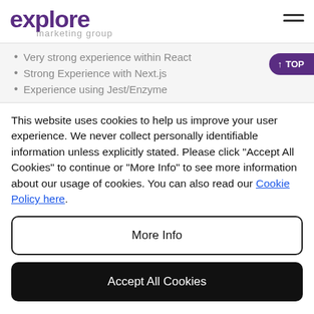explore marketing group
Very strong experience within React
Strong Experience with Next.js
Experience using Jest/Enzyme
This website uses cookies to help us improve your user experience. We never collect personally identifiable information unless explicitly stated. Please click "Accept All Cookies" to continue or "More Info" to see more information about our usage of cookies. You can also read our Cookie Policy here.
More Info
Accept All Cookies